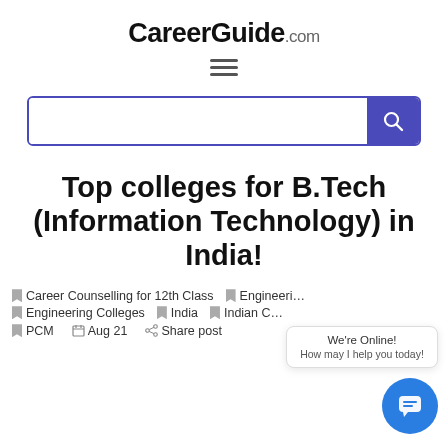CareerGuide.com
[Figure (screenshot): Hamburger menu icon (three horizontal lines)]
[Figure (screenshot): Search bar with blue border and blue search button with magnifying glass icon]
Top colleges for B.Tech (Information Technology) in India!
Career Counselling for 12th Class
Engineering
Engineering Colleges
India
Indian C…
PCM
Aug 21
Share post
[Figure (screenshot): Live chat widget bubble with speech bubble icon, showing 'We're Online!' and 'How may I help you today!' tooltip]